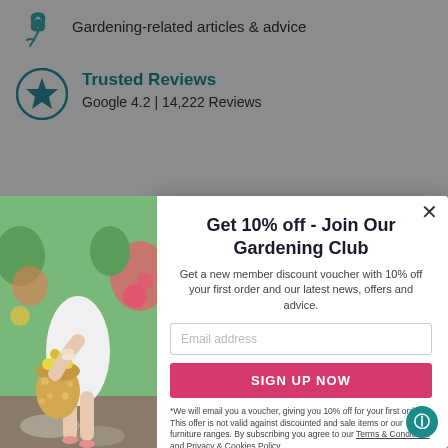Gardening-related articles & advice
Trusted Reviews
Google 4.2 | 14,222 Reviews
Get 10% off - Join Our Gardening Club
Get a new member discount voucher with 10% off your first order and our latest news, offers and advice.
Email address
SIGN UP NOW
*We will email you a voucher, giving you 10% off for your first order. This offer is not valid against discounted and sale items or our furniture ranges. By subscribing you agree to our Terms & Conditions and Privacy & Cookies Policy.
[Figure (photo): Woman in white dress holding a yellow flower-filled wicker basket, standing on stone steps with garden background]